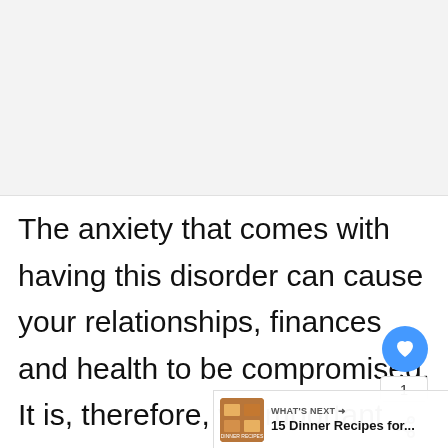[Figure (other): Gray/white blank area at top of page, appears to be an image placeholder or advertisement space]
The anxiety that comes with having this disorder can cause your relationships, finances and health to be compromised. It is, therefore, ve important to learn strategies and tips that can help you control you eating, especially if you have